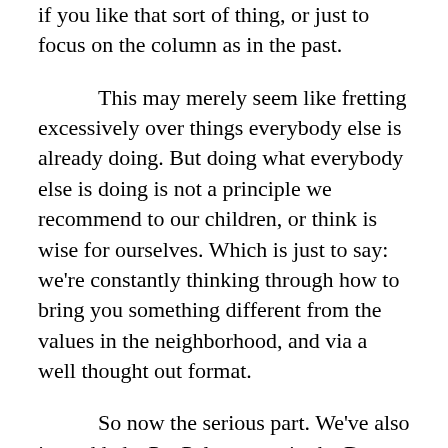if you like that sort of thing, or just to focus on the column as in the past.
This may merely seem like fretting excessively over things everybody else is already doing. But doing what everybody else is doing is not a principle we recommend to our children, or think is wise for ourselves. Which is just to say: we're constantly thinking through how to bring you something different from the values in the neighborhood, and via a well thought out format.
So now the serious part. We've also just added a PayPal account in the Donate section that allows you to express your boundless affection for The Catholic Thing in an immediate and tangible way. It costs us more than you may think to keep the lights on (and our managing editor, Kirk Kramer, despite my best efforts, spends vast sums on his